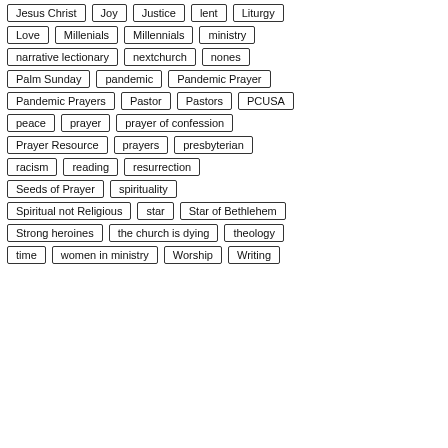Jesus Christ, Joy, Justice, lent, Liturgy
Love, Millenials, Millennials, ministry
narrative lectionary, nextchurch, nones
Palm Sunday, pandemic, Pandemic Prayer
Pandemic Prayers, Pastor, Pastors, PCUSA
peace, prayer, prayer of confession
Prayer Resource, prayers, presbyterian
racism, reading, resurrection
Seeds of Prayer, spirituality
Spiritual not Religious, star, Star of Bethlehem
Strong heroines, the church is dying, theology
time, women in ministry, Worship, Writing